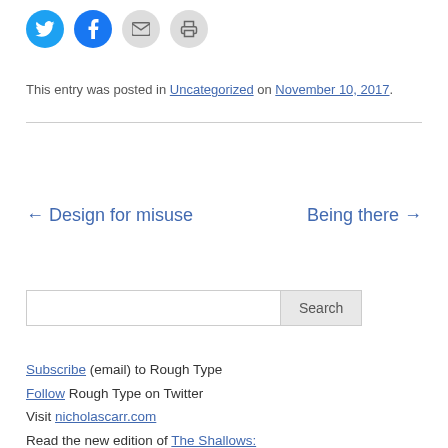[Figure (infographic): Four social sharing icon circles: Twitter (blue), Facebook (blue), Email (gray), Print (gray)]
This entry was posted in Uncategorized on November 10, 2017.
← Design for misuse    Being there →
Search
Subscribe (email) to Rough Type
Follow Rough Type on Twitter
Visit nicholascarr.com
Read the new edition of The Shallows: